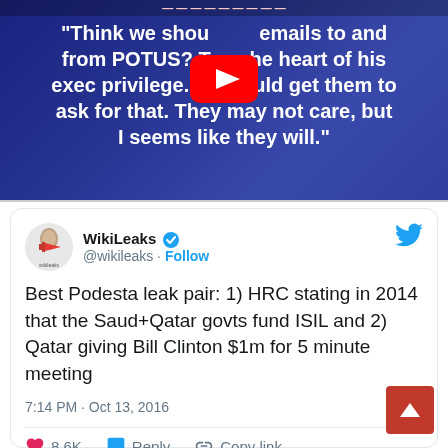[Figure (screenshot): YouTube video thumbnail with blue background showing a quote: '"Think we should emails to and from POTUS? That's the heart of his exec privilege. We could get them to ask for that. They may not care, but I seems like they will."' with a YouTube play button overlay.]
[Figure (screenshot): Tweet from WikiLeaks (@wikileaks) verified account: 'Best Podesta leak pair: 1) HRC stating in 2014 that the Saud+Qatar govts fund ISIL and 2) Qatar giving Bill Clinton $1m for 5 minute meeting' posted at 7:14 PM · Oct 13, 2016. Shows 8.6K likes, Reply and Copy link actions.]